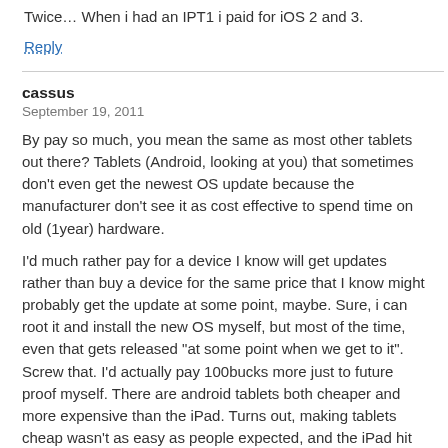Twice… When i had an IPT1 i paid for iOS 2 and 3.
Reply
cassus
September 19, 2011
By pay so much, you mean the same as most other tablets out there? Tablets (Android, looking at you) that sometimes don't even get the newest OS update because the manufacturer don't see it as cost effective to spend time on old (1year) hardware.
I'd much rather pay for a device I know will get updates rather than buy a device for the same price that I know might probably get the update at some point, maybe. Sure, i can root it and install the new OS myself, but most of the time, even that gets released "at some point when we get to it". Screw that. I'd actually pay 100bucks more just to future proof myself. There are android tablets both cheaper and more expensive than the iPad. Turns out, making tablets cheap wasn't as easy as people expected, and the iPad hit the price pretty much spot on.